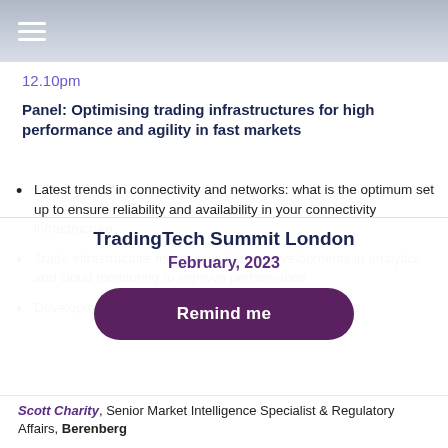Navigation bar with hamburger menu
12.10pm
Panel: Optimising trading infrastructures for high performance and agility in fast markets
Latest trends in connectivity and networks: what is the optimum set up to ensure reliability and availability in your connectivity infrastructure
Trade infrastructure monitoring: Latest developments in analytics and cloud monitoring to improve performance
Developments in co-location, hosting and data centres
TradingTech Summit London
February, 2023
Remind me
Scott Charity, Senior Market Intelligence Specialist & Regulatory Affairs, Berenberg